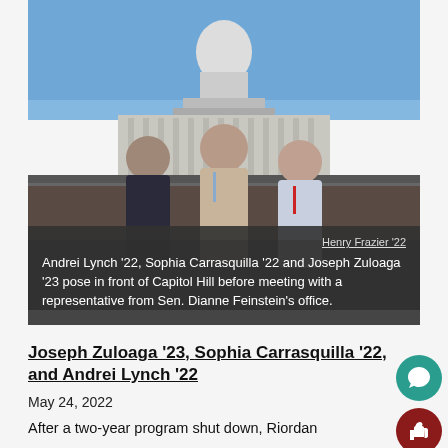[Figure (photo): Three students posing in front of the US Capitol building on a clear day. They are wearing conference lanyards and smiling. One person has their arm raised.]
Henry Frazier '22
Andrei Lynch '22, Sophia Carrasquilla '22 and Joseph Zuloaga '23 pose in front of Capitol Hill before meeting with a representative from Sen. Dianne Feinstein's office.
Joseph Zuloaga '23, Sophia Carrasquilla '22, and Andrei Lynch '22
May 24, 2022
After a two-year program shut down, Riordan